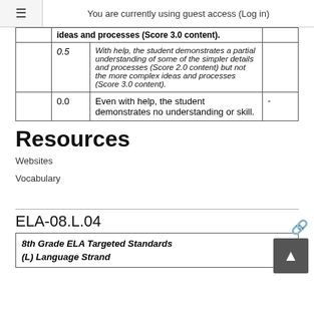You are currently using guest access (Log in)
|  | Score | Description |  |
| --- | --- | --- | --- |
|  |  | ideas and processes (Score 3.0 content). |  |
|  | 0.5 | With help, the student demonstrates a partial understanding of some of the simpler details and processes (Score 2.0 content) but not the more complex ideas and processes (Score 3.0 content). |  |
|  | 0.0 | Even with help, the student demonstrates no understanding or skill. | - |
Resources
Websites
Vocabulary
ELA-08.L.04
| 8th Grade ELA Targeted Standards |
| (L) Language Strand |